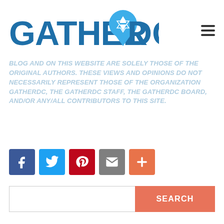[Figure (logo): GatherDC logo with blue text and a location pin containing a Star of David]
BLOG AND ON THIS WEBSITE ARE SOLELY THOSE OF THE ORIGINAL AUTHORS. THESE VIEWS AND OPINIONS DO NOT NECESSARILY REPRESENT THOSE OF THE ORGANIZATION GATHERDC, THE GATHERDC STAFF, THE GATHERDC BOARD, AND/OR ANY/ALL CONTRIBUTORS TO THIS SITE.
[Figure (infographic): Social sharing buttons: Facebook (blue), Twitter (light blue), Pinterest (red), Email (gray), Plus/More (orange)]
[Figure (infographic): Search bar with text input field and coral/salmon SEARCH button]